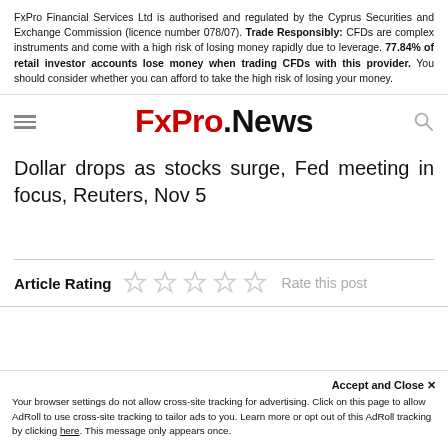FxPro Financial Services Ltd is authorised and regulated by the Cyprus Securities and Exchange Commission (licence number 078/07). Trade Responsibly: CFDs are complex instruments and come with a high risk of losing money rapidly due to leverage. 77.84% of retail investor accounts lose money when trading CFDs with this provider. You should consider whether you can afford to take the high risk of losing your money.
[Figure (logo): FxPro.News logo with hamburger menu icon on left and search icon on right]
Dollar drops as stocks surge, Fed meeting in focus, Reuters, Nov 5
Article Rating  Rate this post
Accept and Close ✕ Your browser settings do not allow cross-site tracking for advertising. Click on this page to allow AdRoll to use cross-site tracking to tailor ads to you. Learn more or opt out of this AdRoll tracking by clicking here. This message only appears once.